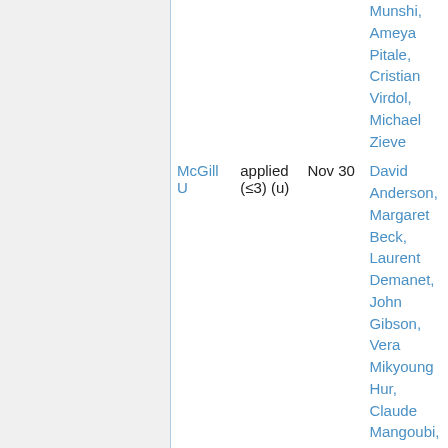| Institution | Type | Deadline | Organizers |
| --- | --- | --- | --- |
|  |  |  | Munshi, Ameya Pitale, Cristian Virdol, Michael Zieve |
| McGill U | applied (≤3) (u) | Nov 30 | David Anderson, Margaret Beck, Laurent Demanet, John Gibson, Vera Mikyoung Hur, Claude Mangoubi, Siddhartha Mishra , Thorsten Riess |